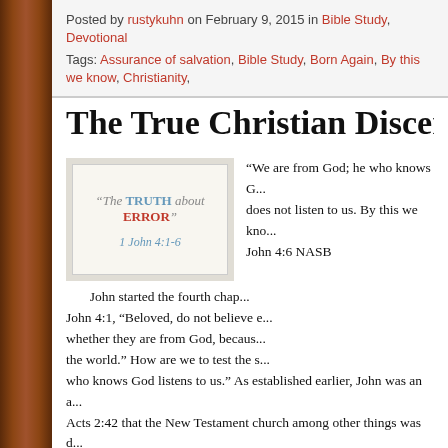Posted by rustykuhn on February 9, 2015 in Bible Study, Devotional
Tags: Assurance of salvation, Bible Study, Born Again, By this we know, Christianity,
The True Christian Discerns Tru...
[Figure (illustration): Book or slide image with text: 'The TRUTH about ERROR' and '1 John 4:1-6']
“We are from God; he who knows G... does not listen to us. By this we kno... John 4:6 NASB
John started the fourth chap... John 4:1, “Beloved, do not believe e... whether they are from God, becaus... the world.” How are we to test the s... who knows God listens to us.” As established earlier, John was an a... Acts 2:42 that the New Testament church among other things was d... they teach? Jesus spent forty days after His resurrection opening th... opened their eyes to was the Old Testament, thus the taught the Old... qualifications for a book to be included into the New Test was that it ... directly associated with an apostle. When John stated, “We are from... the apostles. I also firmly believe the teachings of the apostles tha...